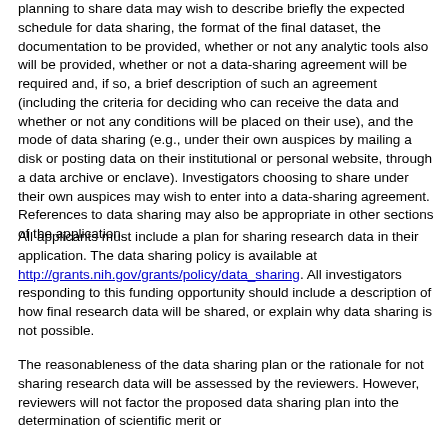planning to share data may wish to describe briefly the expected schedule for data sharing, the format of the final dataset, the documentation to be provided, whether or not any analytic tools also will be provided, whether or not a data-sharing agreement will be required and, if so, a brief description of such an agreement (including the criteria for deciding who can receive the data and whether or not any conditions will be placed on their use), and the mode of data sharing (e.g., under their own auspices by mailing a disk or posting data on their institutional or personal website, through a data archive or enclave). Investigators choosing to share under their own auspices may wish to enter into a data-sharing agreement. References to data sharing may also be appropriate in other sections of the application.
All applicants must include a plan for sharing research data in their application. The data sharing policy is available at http://grants.nih.gov/grants/policy/data_sharing. All investigators responding to this funding opportunity should include a description of how final research data will be shared, or explain why data sharing is not possible.
The reasonableness of the data sharing plan or the rationale for not sharing research data will be assessed by the reviewers. However, reviewers will not factor the proposed data sharing plan into the determination of scientific merit or...